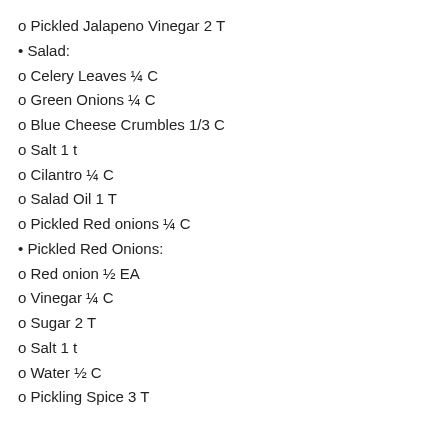o Pickled Jalapeno Vinegar 2 T
• Salad:
o Celery Leaves ¼ C
o Green Onions ¼ C
o Blue Cheese Crumbles 1/3 C
o Salt 1 t
o Cilantro ¼ C
o Salad Oil 1 T
o Pickled Red onions ¼ C
• Pickled Red Onions:
o Red onion ½ EA
o Vinegar ¼ C
o Sugar 2 T
o Salt 1 t
o Water ½ C
o Pickling Spice 3 T